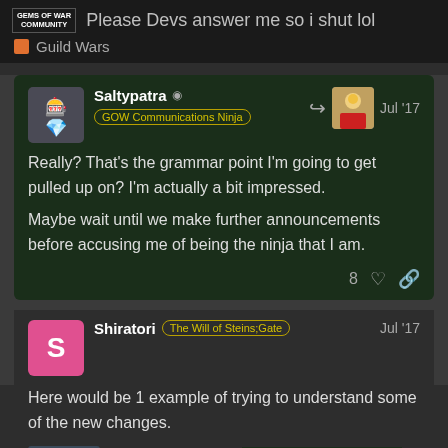Please Devs answer me so i shut lol
Guild Wars
Saltypatra ◉ GOW Communications Ninja Jul '17
Really? That's the grammar point I'm going to get pulled up on? I'm actually a bit impressed.

Maybe wait until we make further announcements before accusing me of being the ninja that I am.
8 ♡ 🔗
Shiratori The Will of Steins;Gate Jul '17
Here would be 1 example of trying to understand some of the new changes.
@Sirrian mentioned that good players win factor. So this implies the faster you w... score. However, I've had noop...